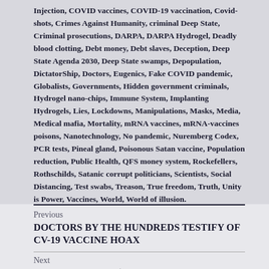Injection, COVID vaccines, COVID-19 vaccination, Covid-shots, Crimes Against Humanity, criminal Deep State, Criminal prosecutions, DARPA, DARPA Hydrogel, Deadly blood clotting, Debt money, Debt slaves, Deception, Deep State Agenda 2030, Deep State swamps, Depopulation, DictatorShip, Doctors, Eugenics, Fake COVID pandemic, Globalists, Governments, Hidden government criminals, Hydrogel nano-chips, Immune System, Implanting Hydrogels, Lies, Lockdowns, Manipulations, Masks, Media, Medical mafia, Mortality, mRNA vaccines, mRNA-vaccines poisons, Nanotechnology, No pandemic, Nuremberg Codex, PCR tests, Pineal gland, Poisonous Satan vaccine, Population reduction, Public Health, QFS money system, Rockefellers, Rothschilds, Satanic corrupt politicians, Scientists, Social Distancing, Test swabs, Treason, True freedom, Truth, Unity is Power, Vaccines, World, World of illusion.
Previous
DOCTORS BY THE HUNDREDS TESTIFY OF CV-19 VACCINE HOAX
Next
DR FAUCI SPENT $400K TO CONDUCT SECRET